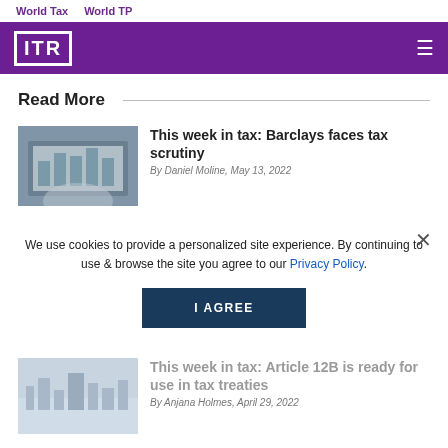World Tax   World TP
[Figure (logo): ITR (International Tax Review) logo in white on purple background with hamburger menu]
Read More
[Figure (photo): Person using laptop with financial charts on screen]
This week in tax: Barclays faces tax scrutiny
By Daniel Moline, May 13, 2022
We use cookies to provide a personalized site experience. By continuing to use & browse the site you agree to our Privacy Policy.
[Figure (screenshot): I AGREE button for cookie consent]
[Figure (photo): City skyline or landscape image for second article]
This week in tax: Article 12B is ready for use in tax treaties
By Anjana Holmes, April 29, 2022